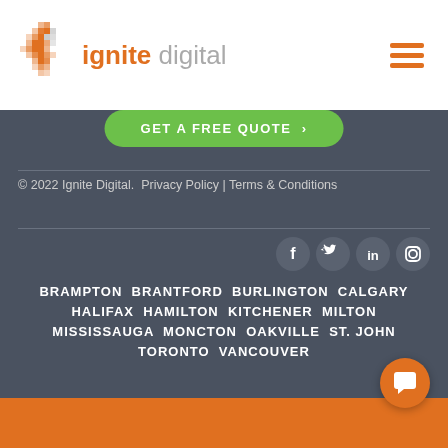[Figure (logo): Ignite Digital logo with flame icon made of orange/grey pixels and the text 'ignite digital']
[Figure (illustration): Hamburger menu icon (three orange horizontal lines)]
[Figure (illustration): Green rounded button reading 'GET A FREE QUOTE' with arrow, partially visible at top of dark section]
© 2022 Ignite Digital. Privacy Policy | Terms & Conditions
[Figure (illustration): Social media icons row: Facebook, Twitter, LinkedIn, Instagram — white on grey circles]
BRAMPTON BRANTFORD BURLINGTON CALGARY HALIFAX HAMILTON KITCHENER MILTON MISSISSAUGA MONCTON OAKVILLE ST. JOHN TORONTO VANCOUVER
[Figure (illustration): Orange chat/message bubble button at bottom right]
LET'S WORK TOGETHER (partially visible at bottom)